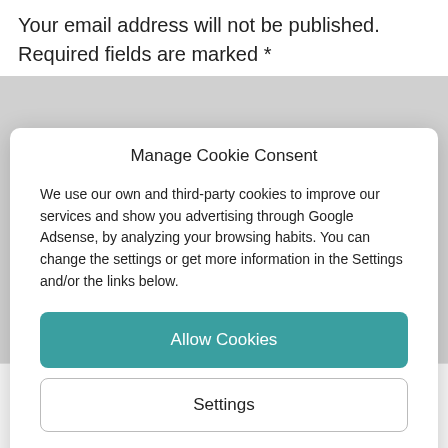Your email address will not be published.
Required fields are marked *
Manage Cookie Consent
We use our own and third-party cookies to improve our services and show you advertising through Google Adsense, by analyzing your browsing habits. You can change the settings or get more information in the Settings and/or the links below.
Allow Cookies
Settings
Cookies Policy   Privacy Policy   Legal warning
Name*